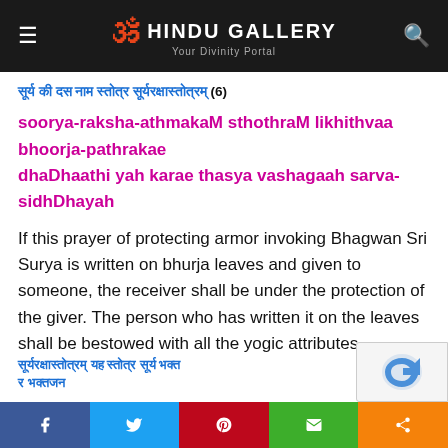HINDU GALLERY — Your Divinity Portal
सूर्य की दस नाम स्तोत्र सूर्यरक्षास्तोत्रम् (6)
soorya-raksha-athmakaM sthothraM likhithvaa bhoorja-pathrakae
dhaDhaathi yah karae thasya vashagaah sarva-sidhDhayah
If this prayer of protecting armor invoking Bhagwan Sri Surya is written on bhurja leaves and given to someone, the receiver shall be under the protection of the giver. The person who has written it on the leaves shall be bestowed with all the yogic attributes.
सूर्यरक्षास्तोत्रम् यह स्तोत्र सूर्य भक्त पाठ करें...